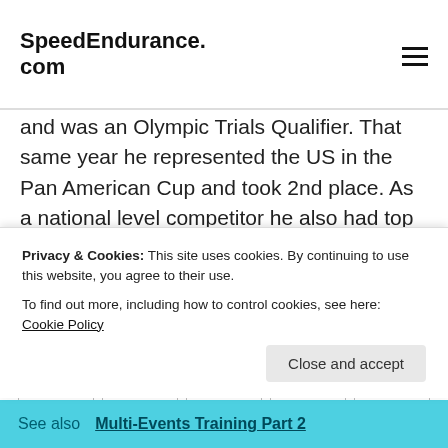SpeedEndurance.com
and was an Olympic Trials Qualifier. That same year he represented the US in the Pan American Cup and took 2nd place. As a national level competitor he also had top 6 finishes at the 2009 and 2010 Indoor Combined Events Championship and finished 10th at the 2011 Outdoor National Championships.
12  7  2  0  0
Privacy & Cookies: This site uses cookies. By continuing to use this website, you agree to their use.
To find out more, including how to control cookies, see here: Cookie Policy
Close and accept
See also Multi-Events Training Part 2